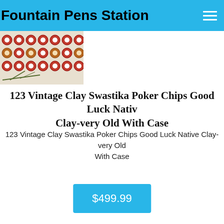Fountain Pens Station
[Figure (photo): Product image showing vintage clay poker chips with swastika good luck symbols, arranged in rows with decorative patterns in red, white, and brown tones.]
123 Vintage Clay Swastika Poker Chips Good Luck Native Clay-very Old With Case
123 Vintage Clay Swastika Poker Chips Good Luck Native Clay-very Old With Case
$499.99